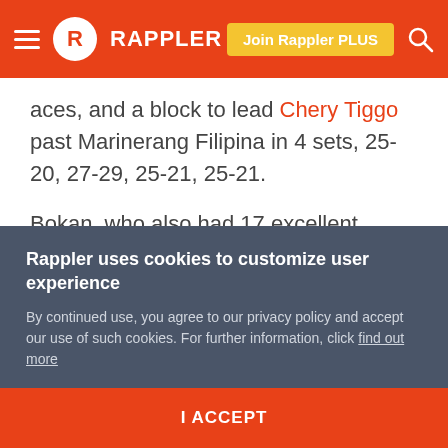RAPPLER
aces, and a block to lead Chery Tiggo past Marinerang Filipina in 4 sets, 25-20, 27-29, 25-21, 25-21.
Bokan, who also had 17 excellent receptions, overshadowed the 36-point performance of Lady Skippers reinforcement Hana Cutura.
National team member Mylene Paat contributed 17 markers and 12 receptions, while Shaya Adorador and Rachel Austero scored 9 points apiece for the Chery Tiggo, formerly known as Foton Tornadoes.
Rappler uses cookies to customize user experience
By continued use, you agree to our privacy policy and accept our use of such cookies. For further information, click find out more